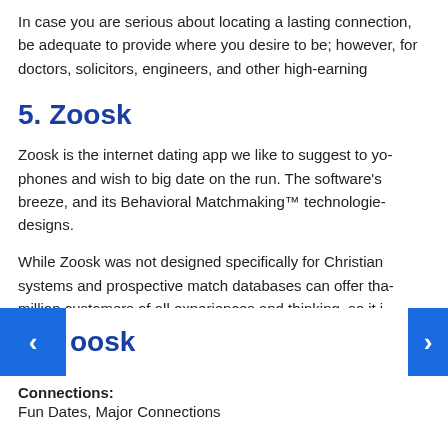In case you are serious about locating a lasting connection, be adequate to provide where you desire to be; however, for doctors, solicitors, engineers, and other high-earning
5. Zoosk
Zoosk is the internet dating app we like to suggest to you phones and wish to big date on the run. The software's breeze, and its Behavioral Matchmaking™ technologies designs.
While Zoosk was not designed specifically for Christian systems and prospective match databases can offer that million customers of all experiences and thinking, so it i nting dates.
oosk
Connections: Fun Dates, Major Connections